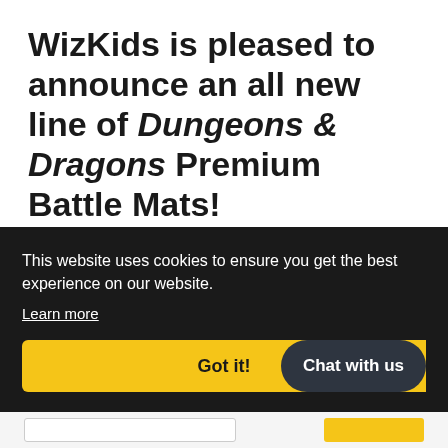WizKids is pleased to announce an all new line of Dungeons & Dragons Premium Battle Mats!
Key Features*:
Large 3' x 5' with 1" grid lines
The mat is made from high-quality materials
[partially obscured]
[Figure (screenshot): Cookie consent banner overlay on dark background with text 'This website uses cookies to ensure you get the best experience on our website.', a 'Learn more' link, a yellow 'Got it!' button, and a dark rounded 'Chat with us' button.]